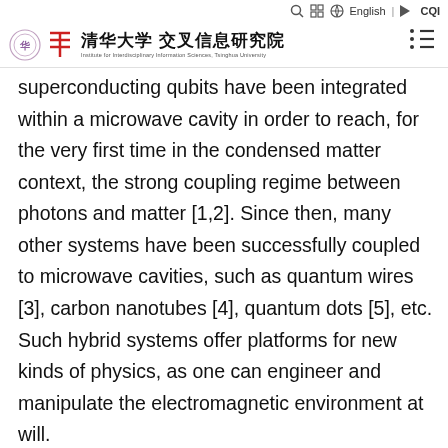Institute for Interdisciplinary Information Sciences, Tsinghua University
superconducting qubits have been integrated within a microwave cavity in order to reach, for the very first time in the condensed matter context, the strong coupling regime between photons and matter [1,2]. Since then, many other systems have been successfully coupled to microwave cavities, such as quantum wires [3], carbon nanotubes [4], quantum dots [5], etc. Such hybrid systems offer platforms for new kinds of physics, as one can engineer and manipulate the electromagnetic environment at will. The versatility of the cQED method relies on the fact that it allows to 1) monitor in a non-invasive fashion the electronic states in quantum conductors, both in equilibrium and non-equilibrium situations, 2) to affect and manipulate the electronic transport, 3) to establish long-